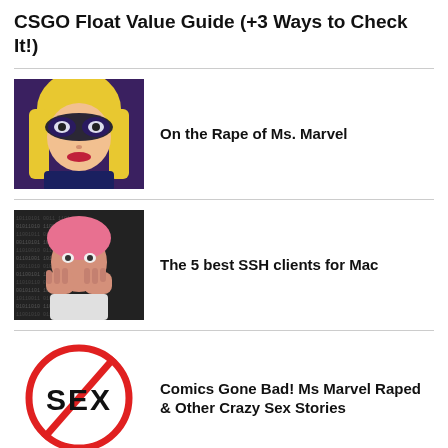CSGO Float Value Guide (+3 Ways to Check It!)
[Figure (illustration): Comic book style illustration of a blonde female superhero with a black mask]
On the Rape of Ms. Marvel
[Figure (photo): Person with glowing pink hair covering their face with hands, surrounded by matrix-style code]
The 5 best SSH clients for Mac
[Figure (illustration): No-sex symbol: the word SEX in a red circle with a diagonal line through it]
Comics Gone Bad! Ms Marvel Raped & Other Crazy Sex Stories